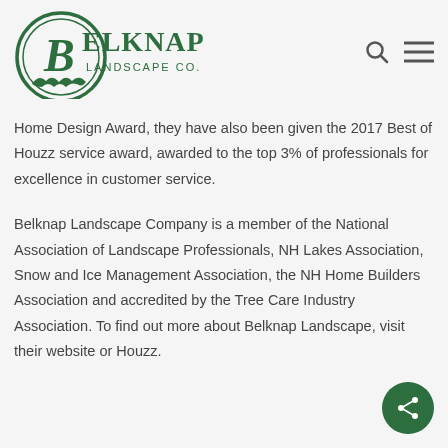Belknap Landscape Co. Inc logo, search icon, menu icon
Home Design Award, they have also been given the 2017 Best of Houzz service award, awarded to the top 3% of professionals for excellence in customer service.
Belknap Landscape Company is a member of the National Association of Landscape Professionals, NH Lakes Association, Snow and Ice Management Association, the NH Home Builders Association and accredited by the Tree Care Industry Association. To find out more about Belknap Landscape, visit their website or Houzz.